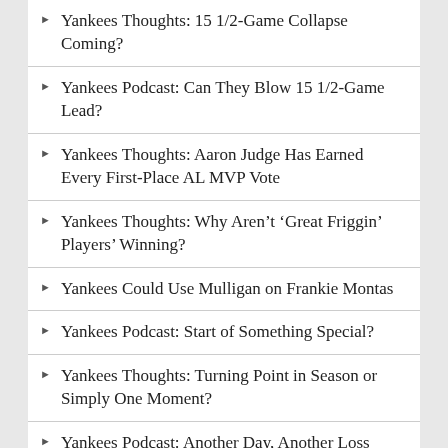Yankees Thoughts: 15 1/2-Game Collapse Coming?
Yankees Podcast: Can They Blow 15 1/2-Game Lead?
Yankees Thoughts: Aaron Judge Has Earned Every First-Place AL MVP Vote
Yankees Thoughts: Why Aren’t ‘Great Friggin’ Players’ Winning?
Yankees Could Use Mulligan on Frankie Montas
Yankees Podcast: Start of Something Special?
Yankees Thoughts: Turning Point in Season or Simply One Moment?
Yankees Podcast: Another Day, Another Loss
Aaron Boone Guarantees Yankees ‘Will Recover’
Yankees Podcast: Free Fall
Yankees Thoughts: ‘Everything Is Fine’
Yankees Podcast: Rise &amp; Demise of Red Sox Rivalry